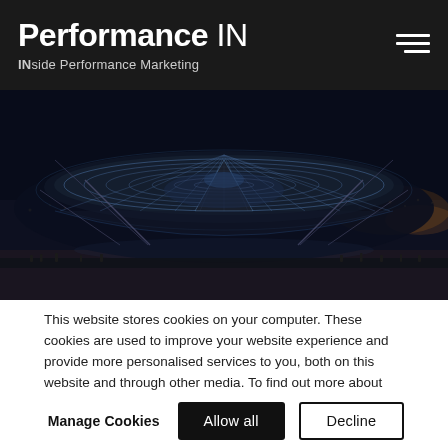Performance IN — INside Performance Marketing
[Figure (photo): Night photograph of a large illuminated lattice dome structure (Shanghai Expo pavilion), lit in blue and white, with crowds below and city lights in the background.]
This website stores cookies on your computer. These cookies are used to improve your website experience and provide more personalised services to you, both on this website and through other media. To find out more about the cookies we use, see our privacy policy.
Manage Cookies  Allow all  Decline